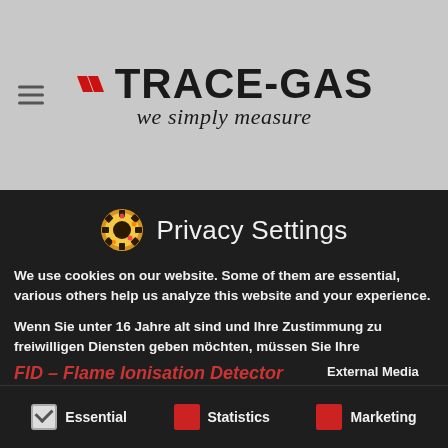[Figure (logo): Trace-Gas logo with red chevrons, bold black TRACE-GAS text, and italic tagline 'we simply measure' on grey background]
Privacy Settings
We use cookies on our website. Some of them are essential, various others help us analyze this website and your experience.
Wenn Sie unter 16 Jahre alt sind und Ihre Zustimmung zu freiwilligen Diensten geben möchten, müssen Sie Ihre Erziehungsberechtigten um Erlaubnis bitten.
Wir verwenden Cookies und andere Technologien auf unserer Website. Einige von ihnen sind essenziell, während andere uns helfen, diese Website und Ihre Erfahrung zu verbessern. Personenbezogene Daten können verarbeitet werden (z. B. IP-Adressen), z. B. für personalisierte Anzeigen und Inhalte oder Anzeigen- und Inhaltsmessung. Weitere Informationen über die
Essential   Statistics   Marketing